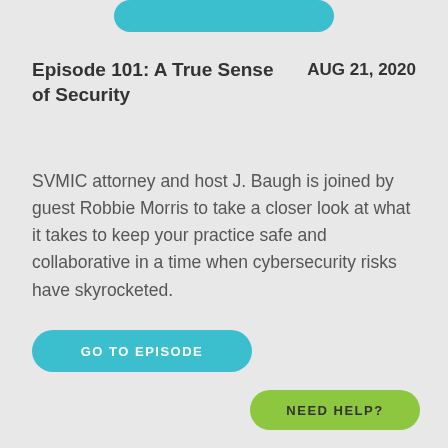[Figure (other): Cyan/teal rounded rectangle button partially visible at top of page]
Episode 101: A True Sense of Security
AUG 21, 2020
SVMIC attorney and host J. Baugh is joined by guest Robbie Morris to take a closer look at what it takes to keep your practice safe and collaborative in a time when cybersecurity risks have skyrocketed.
[Figure (other): Cyan/teal rounded rectangle button labeled GO TO EPISODE]
[Figure (other): Green rounded rectangle button labeled NEED HELP? in bottom right corner]